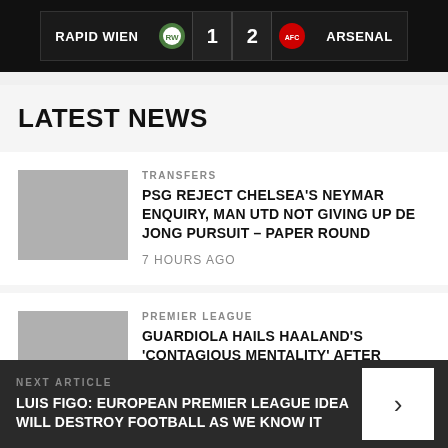RAPID WIEN 1 – 2 ARSENAL
LATEST NEWS
TRANSFERS
PSG REJECT CHELSEA'S NEYMAR ENQUIRY, MAN UTD NOT GIVING UP DE JONG PURSUIT – PAPER ROUND
7 HOURS AGO
PREMIER LEAGUE
GUARDIOLA HAILS HAALAND'S 'CONTAGIOUS MENTALITY' AFTER STUNNING START
8 HOURS AGO
NEXT ARTICLE – LUIS FIGO: EUROPEAN PREMIER LEAGUE IDEA WILL DESTROY FOOTBALL AS WE KNOW IT